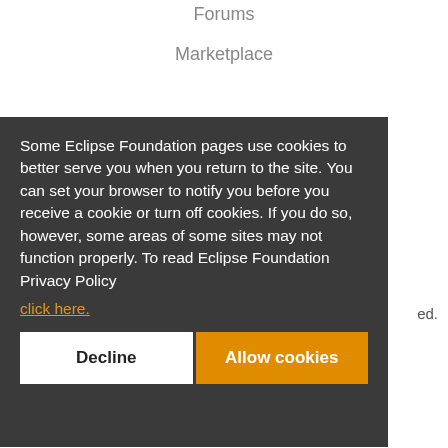Forums
Marketplace
Other
Some Eclipse Foundation pages use cookies to better serve you when you return to the site. You can set your browser to notify you before you receive a cookie or turn off cookies. If you do so, however, some areas of some sites may not function properly. To read Eclipse Foundation Privacy Policy click here.
ed.